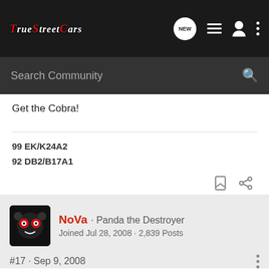TrueStreetCars — Navigation bar with logo, NEW messages, list view, profile, and menu icons
Search Community
Get the Cobra!
99 EK/K24A2
92 DB2/B17A1
NoVa · Panda the Destroyer
Joined Jul 28, 2008 · 2,839 Posts
#17 · Sep 9, 2008